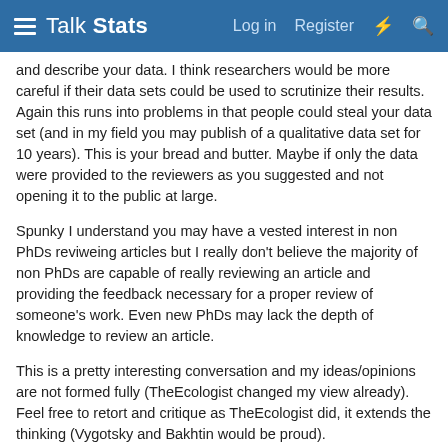Talk Stats — Log in  Register
and describe your data. I think researchers would be more careful if their data sets could be used to scrutinize their results. Again this runs into problems in that people could steal your data set (and in my field you may publish of a qualitative data set for 10 years). This is your bread and butter. Maybe if only the data were provided to the reviewers as you suggested and not opening it to the public at large.
Spunky I understand you may have a vested interest in non PhDs reviweing articles but I really don't believe the majority of non PhDs are capable of really reviewing an article and providing the feedback necessary for a proper review of someone's work. Even new PhDs may lack the depth of knowledge to review an article.
This is a pretty interesting conversation and my ideas/opinions are not formed fully (TheEcologist changed my view already). Feel free to retort and critique as TheEcologist did, it extends the thinking (Vygotsky and Bakhtin would be proud).